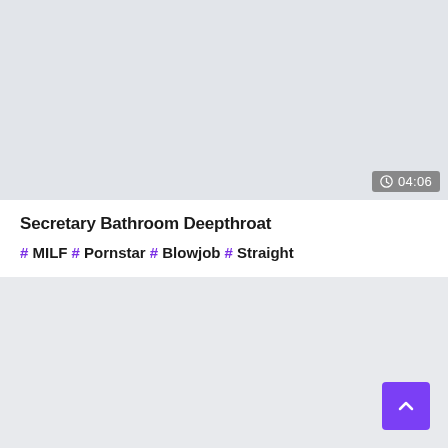[Figure (screenshot): Video thumbnail placeholder — large light grey rectangle with a duration badge showing a clock icon and '04:06' in the bottom-right corner]
Secretary Bathroom Deepthroat
# MILF # Pornstar # Blowjob # Straight